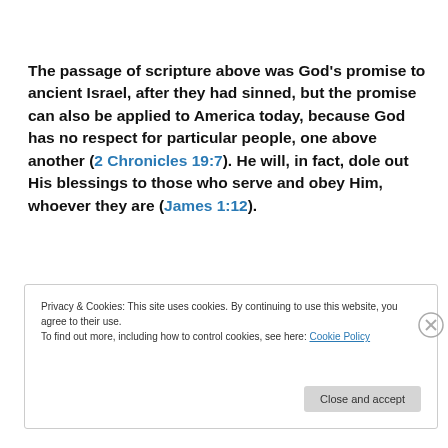The passage of scripture above was God's promise to ancient Israel, after they had sinned, but the promise can also be applied to America today, because God has no respect for particular people, one above another (2 Chronicles 19:7). He will, in fact, dole out His blessings to those who serve and obey Him, whoever they are (James 1:12).
Privacy & Cookies: This site uses cookies. By continuing to use this website, you agree to their use. To find out more, including how to control cookies, see here: Cookie Policy